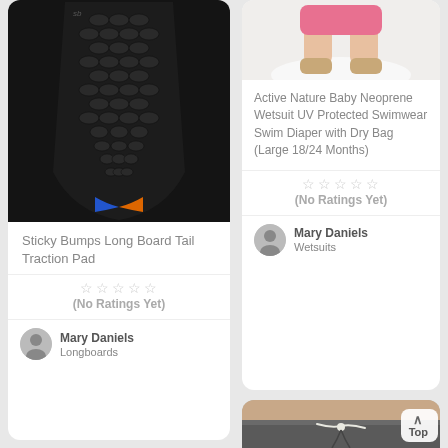[Figure (photo): Black surfboard traction pad (Sticky Bumps Long Board Tail Traction Pad) with blue accents at the bottom, shown from above on dark background]
Sticky Bumps Long Board Tail Traction Pad
(No Ratings Yet)
Mary Daniels
Longboards
[Figure (photo): Baby's lower body wearing pink shorts and boots, standing on fluffy white surface — partial view of Active Nature Baby Neoprene Wetsuit UV Protected Swimwear Swim Diaper with Dry Bag product]
Active Nature Baby Neoprene Wetsuit UV Protected Swimwear Swim Diaper with Dry Bag (Large 18/24 Months)
(No Ratings Yet)
Mary Daniels
Wetsuits
[Figure (photo): Man's torso wearing gray/dark wetsuit shorts with white drawstring tie, partial view of product]